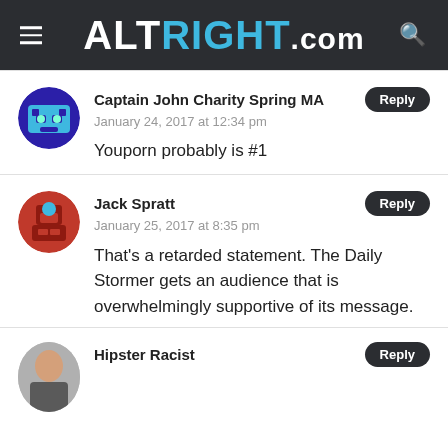ALTRIGHT.COM
Captain John Charity Spring MA
January 24, 2017 at 12:34 pm
Youporn probably is #1
Jack Spratt
January 25, 2017 at 8:35 pm
That's a retarded statement. The Daily Stormer gets an audience that is overwhelmingly supportive of its message.
Hipster Racist